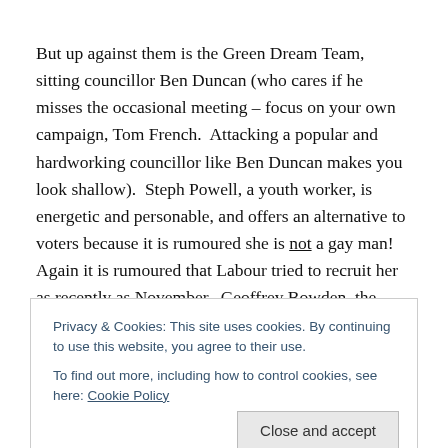But up against them is the Green Dream Team, sitting councillor Ben Duncan (who cares if he misses the occasional meeting – focus on your own campaign, Tom French.  Attacking a popular and hardworking councillor like Ben Duncan makes you look shallow).  Steph Powell, a youth worker, is energetic and personable, and offers an alternative to voters because it is rumoured she is not a gay man!  Again it is rumoured that Labour tried to recruit her as recently as November.  Geoffrey Bowden, the
Privacy & Cookies: This site uses cookies. By continuing to use this website, you agree to their use.
To find out more, including how to control cookies, see here: Cookie Policy
the much respected Paul Steedman ousted Labour's